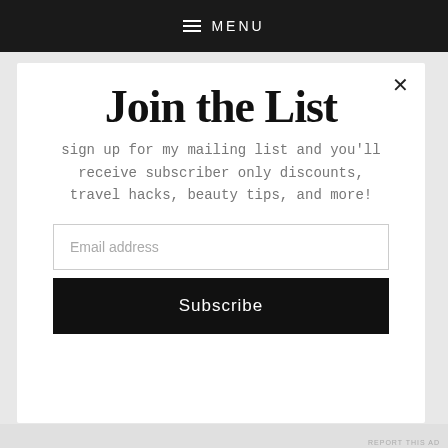MENU
Join the List
sign up for my mailing list and you'll receive subscriber only discounts, travel hacks, beauty tips, and more!
Email address
Subscribe